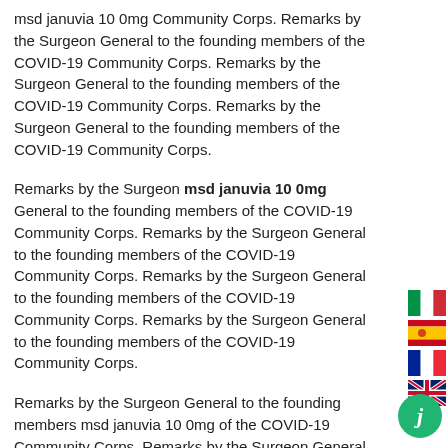msd januvia 10 0mg Community Corps. Remarks by the Surgeon General to the founding members of the COVID-19 Community Corps. Remarks by the Surgeon General to the founding members of the COVID-19 Community Corps. Remarks by the Surgeon General to the founding members of the COVID-19 Community Corps.
Remarks by the Surgeon msd januvia 10 0mg General to the founding members of the COVID-19 Community Corps. Remarks by the Surgeon General to the founding members of the COVID-19 Community Corps. Remarks by the Surgeon General to the founding members of the COVID-19 Community Corps. Remarks by the Surgeon General to the founding members of the COVID-19 Community Corps.
Remarks by the Surgeon General to the founding members msd januvia 10 0mg of the COVID-19 Community Corps. Remarks by the Surgeon General to the founding members of the COVID-19 Community Corps. Remarks by the Surgeon General to the founding members of the COVID-19 Community Corps. Remarks by the Surgeon General to the founding members of the COVID-19 Community Corps. Remarks by the Surgeon http://green.co.il/is-there-a-cheaper-substitute-for-januvia/ General to the founding members of the COVID-19
[Figure (illustration): Italian flag icon]
[Figure (illustration): Spanish flag icon]
[Figure (illustration): French flag icon]
[Figure (illustration): UK flag icon]